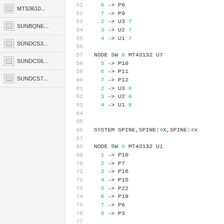MTS3610...
SUNBQNE...
SUNDCS3...
SUNDCS6...
SUNDCS7...
51  6 -> P6
52  7 -> P9
53  2 -> U3 7
54  3 -> U2 7
55  4 -> U1 7
56
57  NODE SW 8 MT43132 U7
58  5 -> P10
59  6 -> P11
60  7 -> P12
61  2 -> U3 8
62  3 -> U2 8
63  4 -> U1 8
64
65
66  SYSTEM SPINE,SPINE:4X,SPINE:4x
67
68  NODE SW 8 MT43132 U1
69  1 -> P10
70  2 -> P7
71  3 -> P16
72  4 -> P15
73  5 -> P22
74  6 -> P19
75  7 -> P6
76  8 -> P3
77
78  NODE SW 8 MT43132 U2
79  1 -> P11
80  2 -> P8
81  3 -> P17